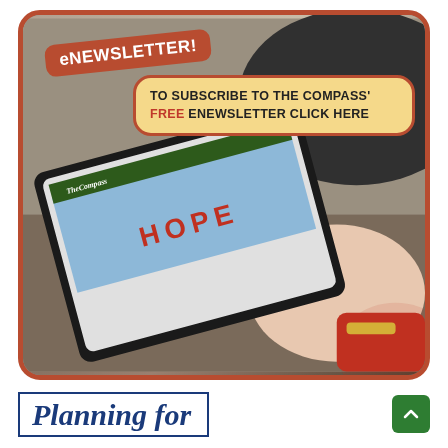[Figure (photo): Advertisement image showing a person holding a tablet displaying The Compass eNewsletter. The ad has a rust/brown rounded border, an 'eNEWSLETTER!' badge in red, and a yellow callout box saying 'TO SUBSCRIBE TO THE COMPASS' FREE eNEWSLETTER CLICK HERE']
Planning for
[Figure (other): Green scroll-to-top button with upward chevron arrow]